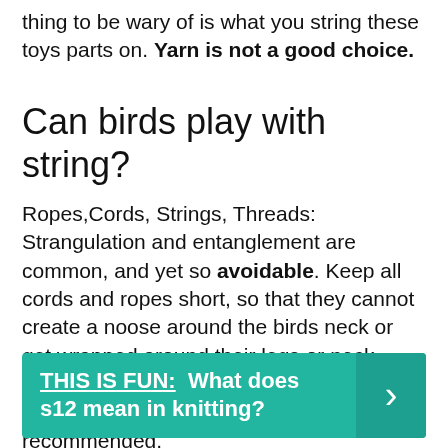thing to be wary of is what you string these toys parts on. Yarn is not a good choice.
Can birds play with string?
Ropes,Cords, Strings, Threads: Strangulation and entanglement are common, and yet so avoidable. Keep all cords and ropes short, so that they cannot create a noose around the birds neck or get wrapped around their legs or neck. ... Furthermore, cotton rope can be shredded or ingested. Supervised playtime is recommended.
THIS IS FUN: What does s12 mean in knitting?